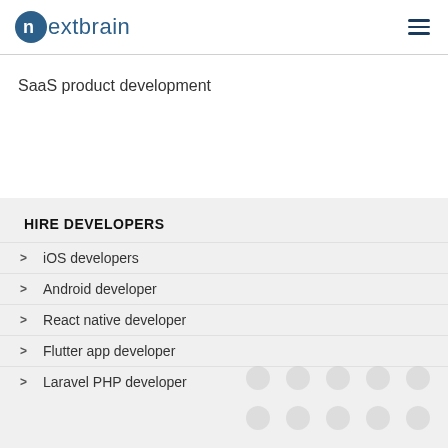nextbrain
SaaS product development
HIRE DEVELOPERS
iOS developers
Android developer
React native developer
Flutter app developer
Laravel PHP developer